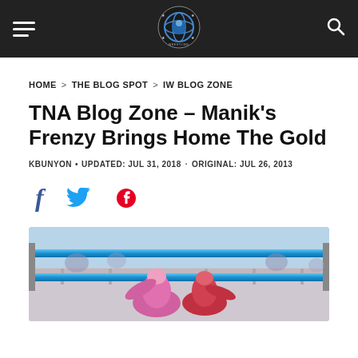Wrestling News World — navigation header with hamburger menu, logo, and search icon
HOME > THE BLOG SPOT > IW BLOG ZONE
TNA Blog Zone – Manik's Frenzy Brings Home The Gold
KBUNYON • UPDATED: JUL 31, 2018 · ORIGINAL: JUL 26, 2013
[Figure (illustration): Social sharing icons: Facebook (f), Twitter (bird), Pinterest (P)]
[Figure (photo): Wrestling photo showing wrestlers in a ring with blue ropes and colorful costumes]